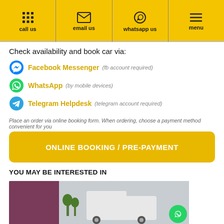call us | email us | whatsapp us | menu
Check availability and book car via:
Facebook Messenger (fb account required)
WhatsApp (by mobile devices)
Telegram Helpdesk (telegram account required)
Place an order via online booking form. When ordering, choose a payment method convenient for you
ONLINE BOOKING / PRE-PAYMENT
YOU MAY BE INTERESTED IN
[Figure (photo): Photo of a white van/minibus vehicle outside]